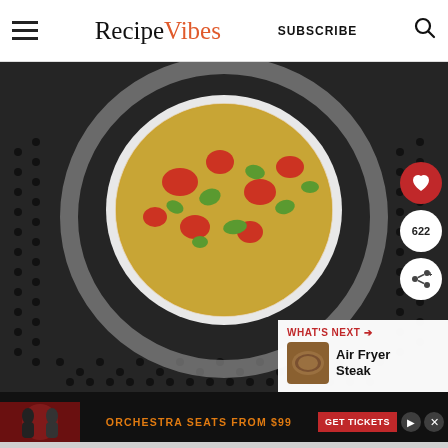RecipeVibes — SUBSCRIBE
[Figure (photo): A frittata or egg dish with vegetables (tomatoes, green peppers, herbs) in a round white bowl, placed inside a black air fryer basket with perforated surface. Social buttons overlay: red heart button, share count 622, share button. 'WHAT'S NEXT → Air Fryer Steak' overlay with thumbnail.]
[Figure (photo): Advertisement banner: couple dancing on dark red background with text 'ORCHESTRA SEATS FROM $99' in orange, and a red 'GET TICKETS' button.]